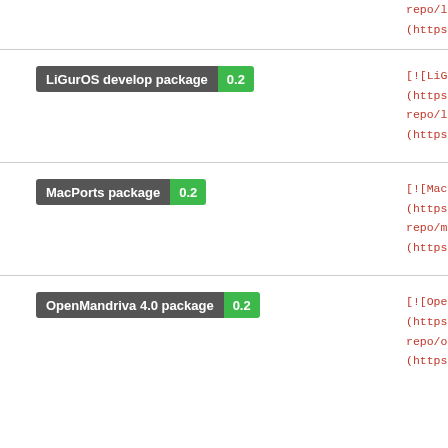(https://repology.
[Figure (other): LiGurOS develop package badge showing version 0.2]
[![LiGurOS develo (https://repology. repo/liguros_devel (https://repology.
[Figure (other): MacPorts package badge showing version 0.2]
[![MacPorts packa (https://repology. repo/macports/b5i2 (https://repology.
[Figure (other): OpenMandriva 4.0 package badge showing version 0.2]
[![OpenMandriva 4 (https://repology. repo/openmandriva_ (https://repology.